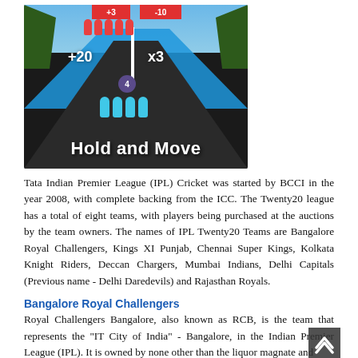[Figure (screenshot): Screenshot of a mobile game called 'Hold and Move' showing colorful stick figures on a road with score indicators +3, -10, +20, x3 and the game title at the bottom.]
Tata Indian Premier League (IPL) Cricket was started by BCCI in the year 2008, with complete backing from the ICC. The Twenty20 league has a total of eight teams, with players being purchased at the auctions by the team owners. The names of IPL Twenty20 Teams are Bangalore Royal Challengers, Kings XI Punjab, Chennai Super Kings, Kolkata Knight Riders, Deccan Chargers, Mumbai Indians, Delhi Capitals (Previous name - Delhi Daredevils) and Rajasthan Royals.
Bangalore Royal Challengers
Royal Challengers Bangalore, also known as RCB, is the team that represents the "IT City of India" - Bangalore, in the Indian Premier League (IPL). It is owned by none other than the liquor magnate and